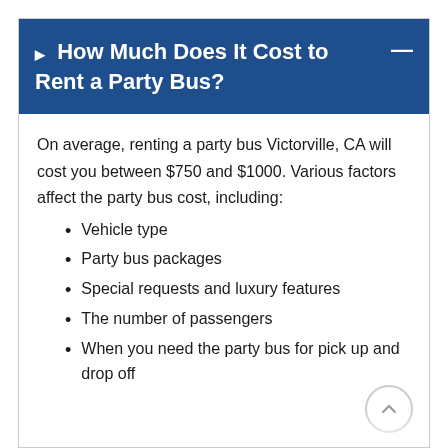How Much Does It Cost to Rent a Party Bus?
On average, renting a party bus Victorville, CA will cost you between $750 and $1000. Various factors affect the party bus cost, including:
Vehicle type
Party bus packages
Special requests and luxury features
The number of passengers
When you need the party bus for pick up and drop off